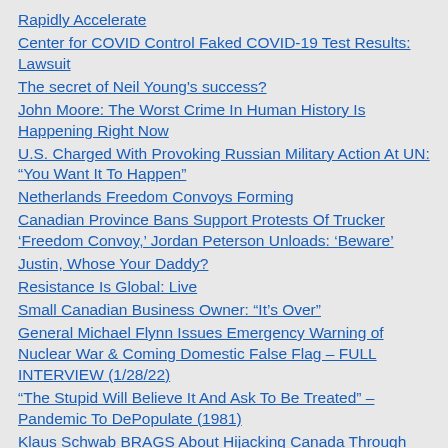Rapidly Accelerate
Center for COVID Control Faked COVID-19 Test Results: Lawsuit
The secret of Neil Young's success?
John Moore: The Worst Crime In Human History Is Happening Right Now
U.S. Charged With Provoking Russian Military Action At UN: “You Want It To Happen”
Netherlands Freedom Convoys Forming
Canadian Province Bans Support Protests Of Trucker ‘Freedom Convoy,’ Jordan Peterson Unloads: ‘Beware’
Justin, Whose Your Daddy?
Resistance Is Global: Live
Small Canadian Business Owner: “It’s Over”
General Michael Flynn Issues Emergency Warning of Nuclear War & Coming Domestic False Flag – FULL INTERVIEW (1/28/22)
“The Stupid Will Believe It And Ask To Be Treated” – Pandemic To DePopulate (1981)
Klaus Schwab BRAGS About Hijacking Canada Through Puppet Trudeau